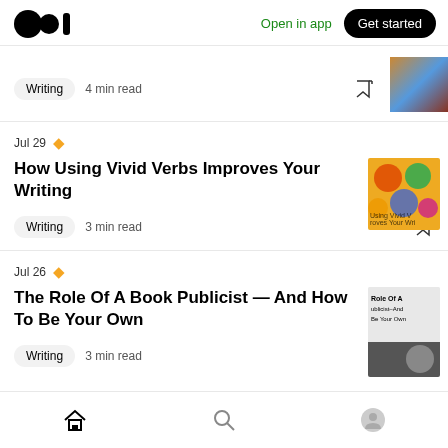Medium logo | Open in app | Get started
Writing  4 min read
Jul 29 ★ How Using Vivid Verbs Improves Your Writing
Writing  3 min read
Jul 26 ★ The Role Of A Book Publicist — And How To Be Your Own
Writing  3 min read
Home | Search | Profile